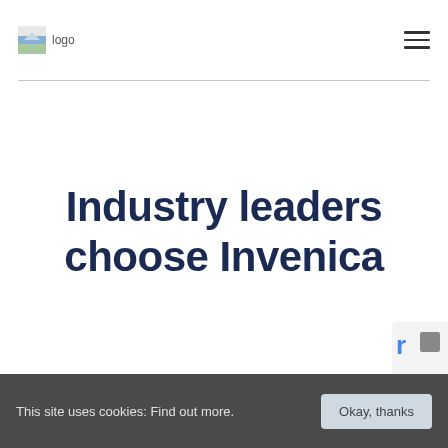[Figure (logo): Invenica logo icon with small landscape image and text 'logo']
[Figure (other): Hamburger menu icon (three horizontal lines)]
Industry leaders choose Invenica
[Figure (other): reCAPTCHA badge partially visible in bottom right corner]
This site uses cookies: Find out more.
Okay, thanks